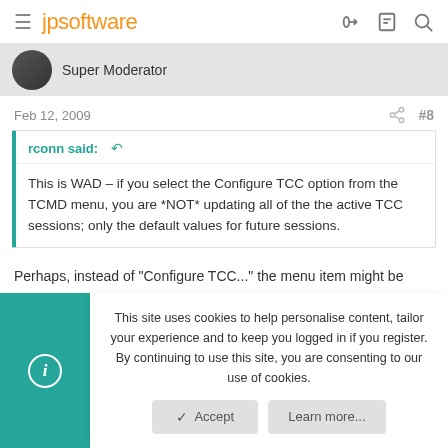jpsoftware
Super Moderator
Feb 12, 2009  #8
rconn said:
This is WAD – if you select the Configure TCC option from the TCMD menu, you are *NOT* updating all of the the active TCC sessions; only the default values for future sessions.
Perhaps, instead of "Configure TCC..." the menu item might be
This site uses cookies to help personalise content, tailor your experience and to keep you logged in if you register.
By continuing to use this site, you are consenting to our use of cookies.
Accept
Learn more...